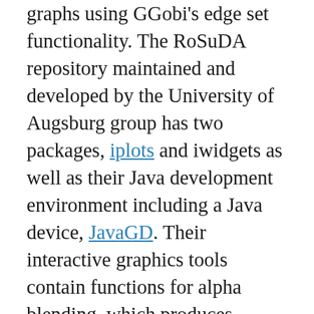graphs using GGobi's edge set functionality. The RoSuDA repository maintained and developed by the University of Augsburg group has two packages, iplots and iwidgets as well as their Java development environment including a Java device, JavaGD. Their interactive graphics tools contain functions for alpha blending, which produces darker shading around areas with more data. This is exceptionally useful for parallel coordinate plots where many lines can quickly obscure patterns. playwith has facilities for building interactive versions of R graphics using the cairoDevice and RGtk2. Lastly, the rgl package has mechanisms for interactive manipulation of plots, especially